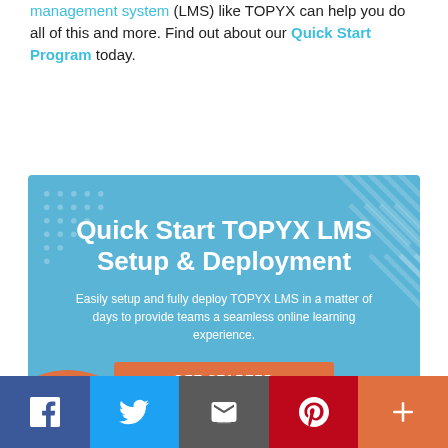management system (LMS) like TOPYX can help you do all of this and more. Find out about our Quick Start Program today.
[Figure (infographic): Quick Start TOPYX LMS Setup & Deployment banner. Blue background with dotted pattern top-left, orange circle bottom-left, diagonal lines top-right. White text: 'Quick Start TOPYX LMS Setup & Deployment'. Subtitle: 'Easily setup and fully deploy TOPYX LMS in a matter of days to provide teams a seamless online learning experience.' Orange 'GET STARTED' button.]
Sources:[1] https://study.com/blog/4-signs-your-employees-are-bored-by-your-training-program-how-to-engage-them.html
[Figure (infographic): Social media share bar with 5 buttons: Facebook (dark blue, f icon), Twitter (light blue, bird icon), Email (grey, envelope icon), Pinterest (red, P icon), More/Plus (orange, + icon).]